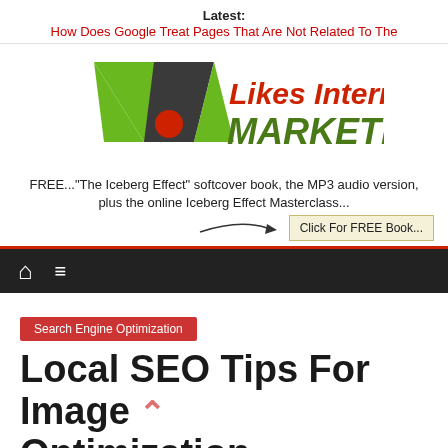Latest: How Does Google Treat Pages That Are Not Related To The
[Figure (logo): Likes Internet Marketing logo with green V-shape and red circle icon, red and dark green bold text]
FREE..."The Iceberg Effect" softcover book, the MP3 audio version, plus the online Iceberg Effect Masterclass...
Click For FREE Book...
[Figure (other): Dark navigation bar with home icon and hamburger menu icon, red top border]
Search Engine Optimization
Local SEO Tips For Image Optimization